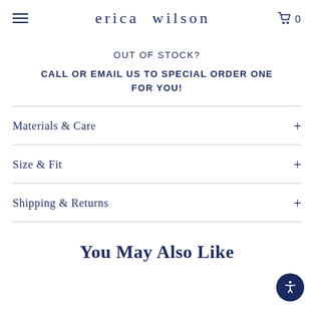erica wilson
OUT OF STOCK?
CALL OR EMAIL US TO SPECIAL ORDER ONE FOR YOU!
Materials & Care
Size & Fit
Shipping & Returns
You May Also Like